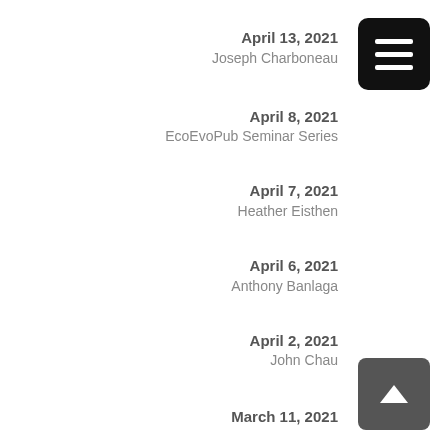April 13, 2021
Joseph Charboneau
April 8, 2021
EcoEvoPub Seminar Series
April 7, 2021
Heather Eisthen
April 6, 2021
Anthony Banlaga
April 2, 2021
John Chau
March 11, 2021